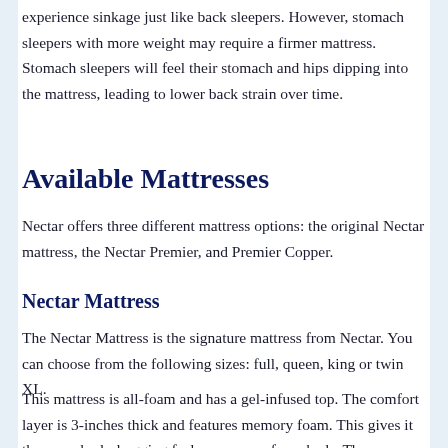experience sinkage just like back sleepers. However, stomach sleepers with more weight may require a firmer mattress. Stomach sleepers will feel their stomach and hips dipping into the mattress, leading to lower back strain over time.
Available Mattresses
Nectar offers three different mattress options: the original Nectar mattress, the Nectar Premier, and Premier Copper.
Nectar Mattress
The Nectar Mattress is the signature mattress from Nectar. You can choose from the following sizes: full, queen, king or twin XL.
This mattress is all-foam and has a gel-infused top. The comfort layer is 3-inches thick and features memory foam. This gives it the same body-hugging feel as memory foam beds. The